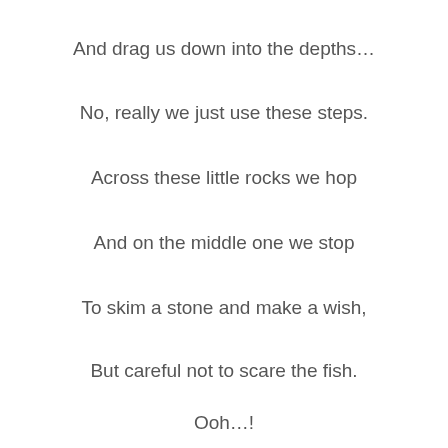And drag us down into the depths…
No, really we just use these steps.
Across these little rocks we hop
And on the middle one we stop
To skim a stone and make a wish,
But careful not to scare the fish.
Ooh…!
And now we're on the other side